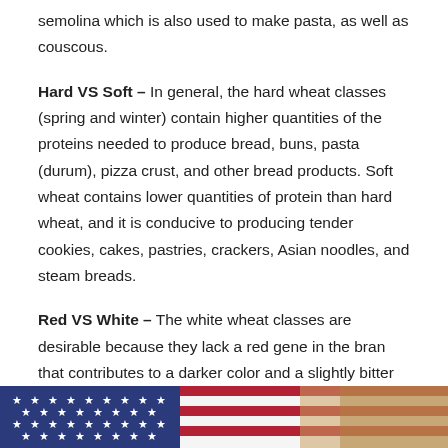semolina which is also used to make pasta, as well as couscous.
Hard VS Soft – In general, the hard wheat classes (spring and winter) contain higher quantities of the proteins needed to produce bread, buns, pasta (durum), pizza crust, and other bread products. Soft wheat contains lower quantities of protein than hard wheat, and it is conducive to producing tender cookies, cakes, pastries, crackers, Asian noodles, and steam breads.
Red VS White – The white wheat classes are desirable because they lack a red gene in the bran that contributes to a darker color and a slightly bitter flavor to the whole grain. (Sources: USDA, Natural History of Wheat, Kansas Wheat)
[Figure (photo): Partial view of an American flag with stars on blue field on the left and red and white stripes, transitioning to what appears to be wheat or grain imagery on the right.]